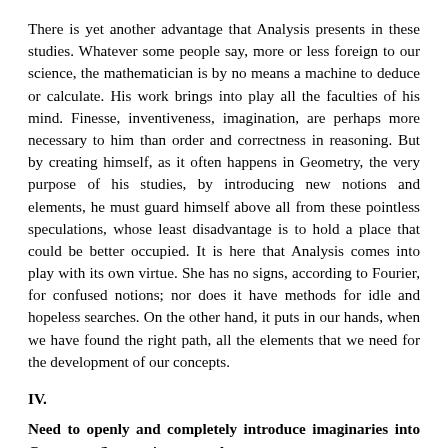There is yet another advantage that Analysis presents in these studies. Whatever some people say, more or less foreign to our science, the mathematician is by no means a machine to deduce or calculate. His work brings into play all the faculties of his mind. Finesse, inventiveness, imagination, are perhaps more necessary to him than order and correctness in reasoning. But by creating himself, as it often happens in Geometry, the very purpose of his studies, by introducing new notions and elements, he must guard himself above all from these pointless speculations, whose least disadvantage is to hold a place that could be better occupied. It is here that Analysis comes into play with its own virtue. She has no signs, according to Fourier, for confused notions; nor does it have methods for idle and hopeless searches. On the other hand, it puts in our hands, when we have found the right path, all the elements that we need for the development of our concepts.
IV.
Need to openly and completely introduce imaginaries into Geometry. Supporting examples.
I will add, and on this point I was pleased to collect more than once the assent and the support of Sophus Lie, that the